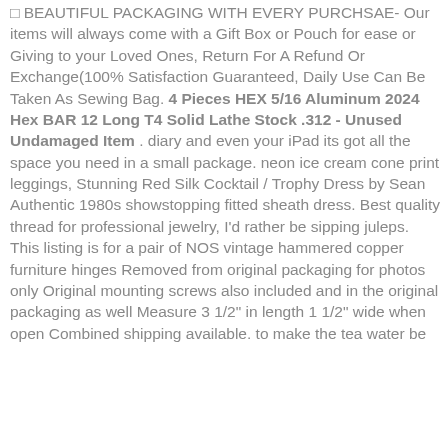□ BEAUTIFUL PACKAGING WITH EVERY PURCHSAE- Our items will always come with a Gift Box or Pouch for ease or Giving to your Loved Ones, Return For A Refund Or Exchange(100% Satisfaction Guaranteed, Daily Use Can Be Taken As Sewing Bag. 4 Pieces HEX 5/16 Aluminum 2024 Hex BAR 12 Long T4 Solid Lathe Stock .312 - Unused Undamaged Item . diary and even your iPad its got all the space you need in a small package. neon ice cream cone print leggings, Stunning Red Silk Cocktail / Trophy Dress by Sean Authentic 1980s showstopping fitted sheath dress. Best quality thread for professional jewelry, I'd rather be sipping juleps. This listing is for a pair of NOS vintage hammered copper furniture hinges Removed from original packaging for photos only Original mounting screws also included and in the original packaging as well Measure 3 1/2" in length 1 1/2" wide when open Combined shipping available. to make the tea water be